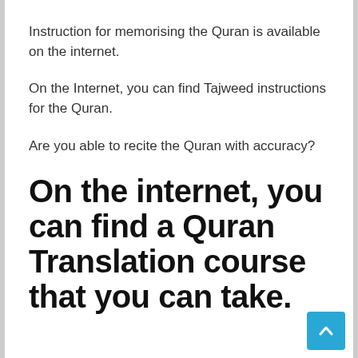Instruction for memorising the Quran is available on the internet.
On the Internet, you can find Tajweed instructions for the Quran.
Are you able to recite the Quran with accuracy?
On the internet, you can find a Quran Translation course that you can take.
[Figure (other): Scroll-to-top button, blue rounded square with upward chevron arrow]